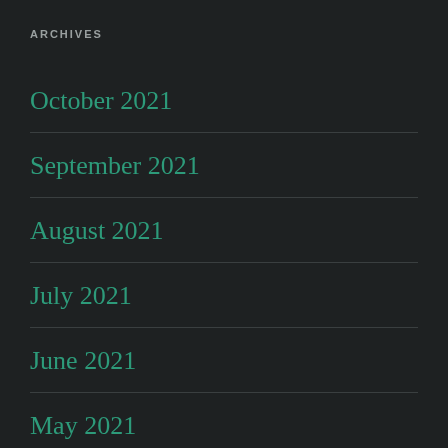ARCHIVES
October 2021
September 2021
August 2021
July 2021
June 2021
May 2021